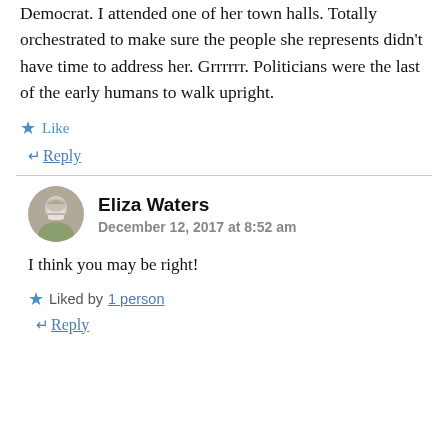Democrat. I attended one of her town halls. Totally orchestrated to make sure the people she represents didn't have time to address her. Grrrrrr. Politicians were the last of the early humans to walk upright.
Like
Reply
Eliza Waters
December 12, 2017 at 8:52 am
I think you may be right!
Liked by 1 person
Reply